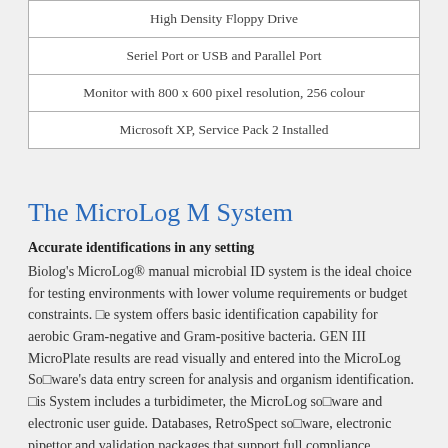| High Density Floppy Drive |
| Seriel Port or USB and Parallel Port |
| Monitor with 800 x 600 pixel resolution, 256 colour |
| Microsoft XP, Service Pack 2 Installed |
The MicroLog M System
Accurate identifications in any setting
Biolog's MicroLog® manual microbial ID system is the ideal choice for testing environments with lower volume requirements or budget constraints. The system offers basic identification capability for aerobic Gram-negative and Gram-positive bacteria. GEN III MicroPlate results are read visually and entered into the MicroLog Software's data entry screen for analysis and organism identification. This System includes a turbidimeter, the MicroLog software and electronic user guide. Databases, RetroSpect software, electronic pipettor and validation packages that support full compliance, including 21 CFR